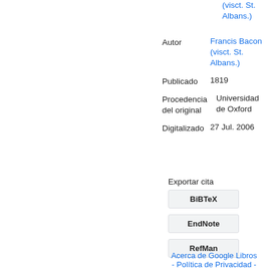(visct. St. Albans.)
| Field | Value |
| --- | --- |
| Autor | Francis Bacon (visct. St. Albans.) |
| Publicado | 1819 |
| Procedencia del original | Universidad de Oxford |
| Digitalizado | 27 Jul. 2006 |
Exportar cita
BiBTeX
EndNote
RefMan
Acerca de Google Libros
- Política de Privacidad -